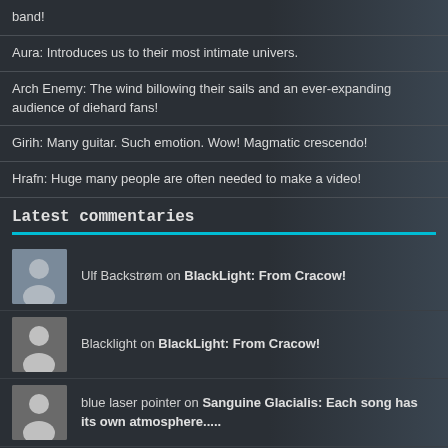band!
Aura: Introduces us to their most intimate univers.
Arch Enemy: The wind billowing their sails and an ever-expanding audience of diehard fans!
Girih: Many guitar. Such emotion. Wow! Magmatic crescendo!
Hrafn: Huge many people are often needed to make a video!
Latest commentaries
Ulf Backstrøm on BlackLight: From Cracow!
Blacklight on BlackLight: From Cracow!
blue laser pointer on Sanguine Glacialis: Each song has its own atmosphere.....
Recent articles and news